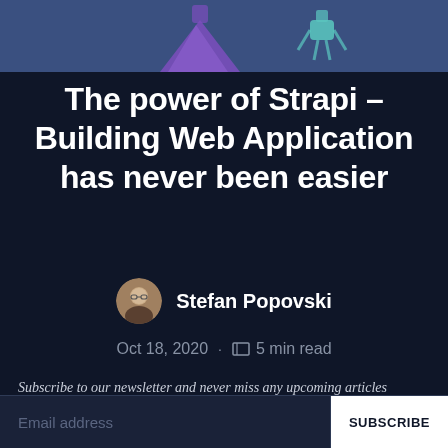[Figure (illustration): Header banner with blue/steel background, showing partial illustration of a purple flask/beaker shape on the left and a teal robot/figure on the right]
The power of Strapi – Building Web Application has never been easier
Stefan Popovski
Oct 18, 2020 · 5 min read
Subscribe to our newsletter and never miss any upcoming articles
Email address   SUBSCRIBE